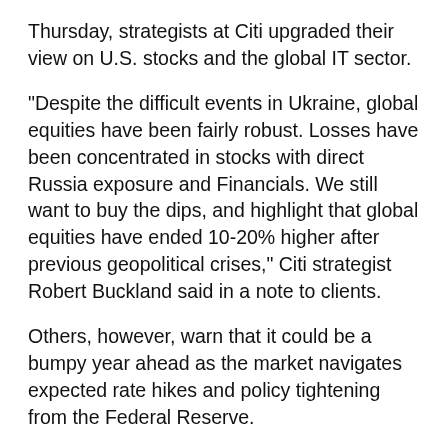Thursday, strategists at Citi upgraded their view on U.S. stocks and the global IT sector.
“Despite the difficult events in Ukraine, global equities have been fairly robust. Losses have been concentrated in stocks with direct Russia exposure and Financials. We still want to buy the dips, and highlight that global equities have ended 10-20% higher after previous geopolitical crises,” Citi strategist Robert Buckland said in a note to clients.
Others, however, warn that it could be a bumpy year ahead as the market navigates expected rate hikes and policy tightening from the Federal Reserve.
“Markets have been resilient. How long will that last? It’s getting weaker and it’s getting weaker because the Fed is not injecting liquidity starting from this month,” Allianz chief economic advisor Mohamed El-Erian said on